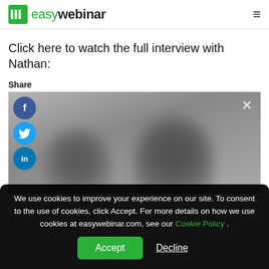easywebinar
Click here to watch the full interview with Nathan:
Share
[Figure (screenshot): Blurred video thumbnail showing two people in a room with social sharing buttons (Facebook, Twitter, LinkedIn) on the left and a close (X) button on the top right.]
We use cookies to improve your experience on our site. To consent to the use of cookies, click Accept. For more details on how we use cookies at easywebinar.com, see our Cookie Policy .
Accept   Decline